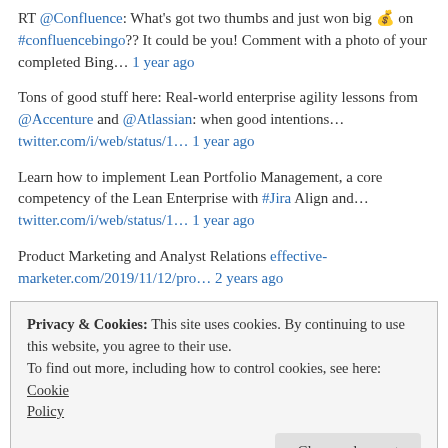RT @Confluence: What's got two thumbs and just won big 💰 on #confluencebingo?? It could be you! Comment with a photo of your completed Bing… 1 year ago
Tons of good stuff here: Real-world enterprise agility lessons from @Accenture and @Atlassian: when good intentions… twitter.com/i/web/status/1… 1 year ago
Learn how to implement Lean Portfolio Management, a core competency of the Lean Enterprise with #Jira Align and… twitter.com/i/web/status/1… 1 year ago
Product Marketing and Analyst Relations effective-marketer.com/2019/11/12/pro… 2 years ago
Privacy & Cookies: This site uses cookies. By continuing to use this website, you agree to their use. To find out more, including how to control cookies, see here: Cookie Policy Close and accept
[Figure (other): TOP BLOG banner strip in dark blue]